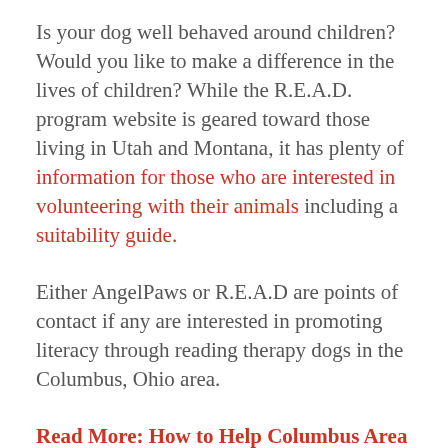Is your dog well behaved around children? Would you like to make a difference in the lives of children? While the R.E.A.D. program website is geared toward those living in Utah and Montana, it has plenty of information for those who are interested in volunteering with their animals including a suitability guide.
Either AngelPaws or R.E.A.D are points of contact if any are interested in promoting literacy through reading therapy dogs in the Columbus, Ohio area.
Read More: How to Help Columbus Area Animal Organizations